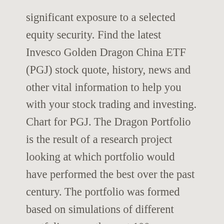significant exposure to a selected equity security. Find the latest Invesco Golden Dragon China ETF (PGJ) stock quote, history, news and other vital information to help you with your stock trading and investing. Chart for PGJ. The Dragon Portfolio is the result of a research project looking at which portfolio would have performed the best over the past century. The portfolio was formed based on simulations of different portfolios over the past 100 years. Electronic Equipment, Instruments & Components, Technology Hardware, Storage & Peripherals. Asset allocation basically means portfolio diversification. / Add to Watchlist Edit Watchlist. ETFs are baskets of individual